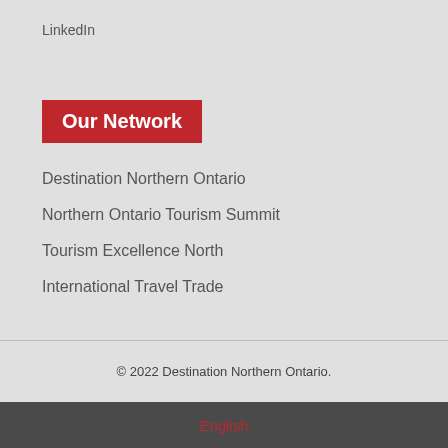LinkedIn
Our Network
Destination Northern Ontario
Northern Ontario Tourism Summit
Tourism Excellence North
International Travel Trade
© 2022 Destination Northern Ontario.
English